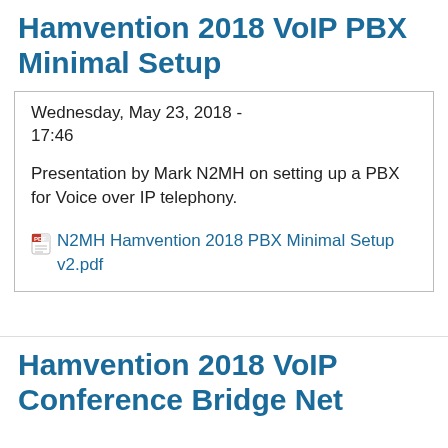Hamvention 2018 VoIP PBX Minimal Setup
Wednesday, May 23, 2018 - 17:46

Presentation by Mark N2MH on setting up a PBX for Voice over IP telephony.
N2MH Hamvention 2018 PBX Minimal Setup v2.pdf
Hamvention 2018 VoIP Conference Bridge Net